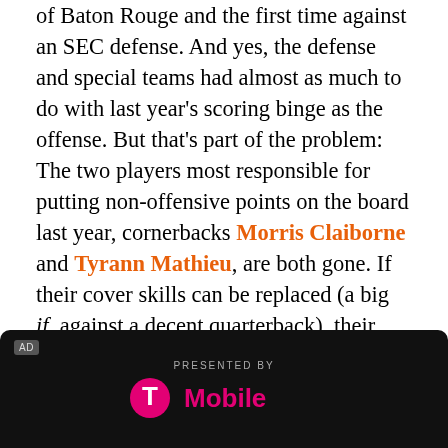of Baton Rouge and the first time against an SEC defense. And yes, the defense and special teams had almost as much to do with last year's scoring binge as the offense. But that's part of the problem: The two players most responsible for putting non-offensive points on the board last year, cornerbacks Morris Claiborne and Tyrann Mathieu, are both gone. If their cover skills can be replaced (a big if, against a decent quarterback), their knack for generating big, game-changing plays on turnovers and in the return game almost certainly cannot. The defense rules, but you can't start talking SEC and BCS championships if you can't generate more than 10 points against an uninspiring edition of Auburn.
[Figure (other): Advertisement banner: 'AD' label, 'PRESENTED BY' text, T-Mobile logo in magenta on dark background]